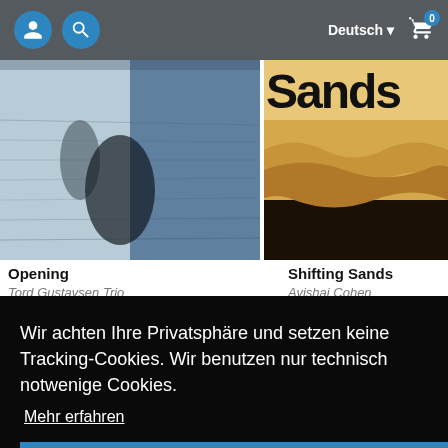Deutsch 0
[Figure (photo): Album cover for 'Opening' by Tord Gustavsen Trio — black and white textured photograph]
[Figure (photo): Album cover for 'Shifting Sands' by Avishai Cohen — sandy desert texture with text 'Sands' partially visible]
Opening
Tord Gustavsen Trio
Shifting Sands
Avishai Cohen
Wir achten Ihre Privatsphäre und setzen keine Tracking-Cookies. Wir benutzen nur technisch notwenige Cookies.
Mehr erfahren
OK
[Figure (photo): Partial view of album 'Stream' by Raphael Imbert, Julien Cheynes, Regis Blanchard, Sonny Troupe]
[Figure (photo): Bottom partial album cover images, blue tones]